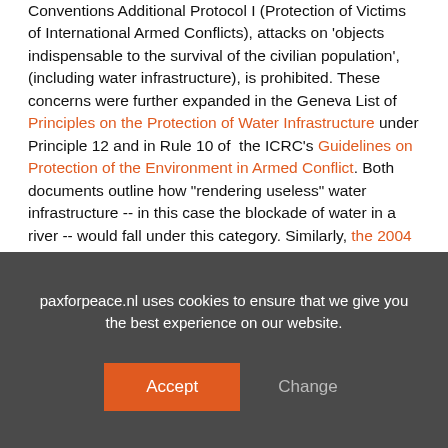Conventions Additional Protocol I (Protection of Victims of International Armed Conflicts), attacks on 'objects indispensable to the survival of the civilian population', (including water infrastructure), is prohibited. These concerns were further expanded in the Geneva List of Principles on the Protection of Water Infrastructure under Principle 12 and in Rule 10 of the ICRC's Guidelines on Protection of the Environment in Armed Conflict. Both documents outline how "rendering useless" water infrastructure -- in this case the blockade of water in a river -- would fall under this category. Similarly, the 2004 Berlin Rules on Water Resources of the International Law Association under Article 51 provides that "in no event
paxforpeace.nl uses cookies to ensure that we give you the best experience on our website.